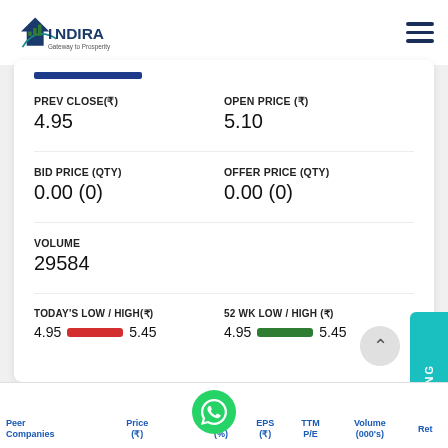Indira Gateway to Prosperity — navigation header
PREV CLOSE(₹)
4.95
OPEN PRICE (₹)
5.10
BID PRICE (QTY)
0.00 (0)
OFFER PRICE (QTY)
0.00 (0)
VOLUME
29584
TODAY'S LOW / HIGH(₹)
4.95 — 5.45
52 WK LOW / HIGH (₹)
4.95 — 5.45
| Peer Companies | Price (₹) | Chg (%) | EPS (₹) | TTM P/E | Volume (000's) | Ret |
| --- | --- | --- | --- | --- | --- | --- |